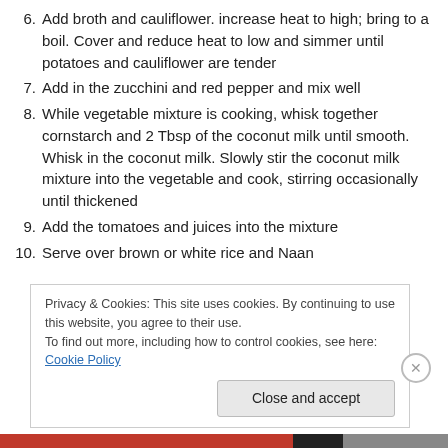6. Add broth and cauliflower. increase heat to high; bring to a boil. Cover and reduce heat to low and simmer until potatoes and cauliflower are tender
7. Add in the zucchini and red pepper and mix well
8. While vegetable mixture is cooking, whisk together cornstarch and 2 Tbsp of the coconut milk until smooth. Whisk in the coconut milk. Slowly stir the coconut milk mixture into the vegetable and cook, stirring occasionally until thickened
9. Add the tomatoes and juices into the mixture
10. Serve over brown or white rice and Naan
Privacy & Cookies: This site uses cookies. By continuing to use this website, you agree to their use. To find out more, including how to control cookies, see here: Cookie Policy
Close and accept